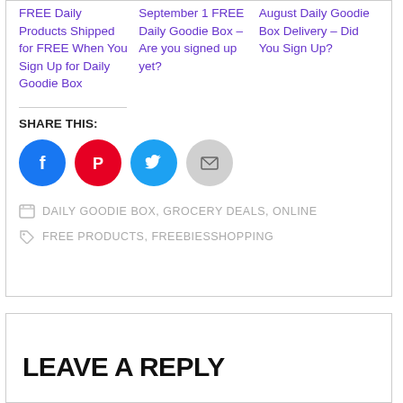FREE Daily Products Shipped for FREE When You Sign Up for Daily Goodie Box
September 1 FREE Daily Goodie Box – Are you signed up yet?
August Daily Goodie Box Delivery – Did You Sign Up?
SHARE THIS:
[Figure (infographic): Social share buttons: Facebook (blue circle), Pinterest (red circle), Twitter (cyan circle), Email (gray circle)]
DAILY GOODIE BOX, GROCERY DEALS, ONLINE FREE PRODUCTS, FREEBIESSHOPPING